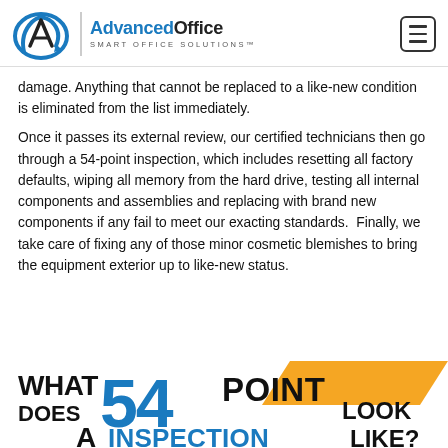Advanced Office Smart Office Solutions
damage. Anything that cannot be replaced to a like-new condition is eliminated from the list immediately.
Once it passes its external review, our certified technicians then go through a 54-point inspection, which includes resetting all factory defaults, wiping all memory from the hard drive, testing all internal components and assemblies and replacing with brand new components if any fail to meet our exacting standards.  Finally, we take care of fixing any of those minor cosmetic blemishes to bring the equipment exterior up to like-new status.
[Figure (infographic): Bold text graphic reading WHAT DOES A 54 POINT INSPECTION LOOK LIKE? with blue and orange styling]